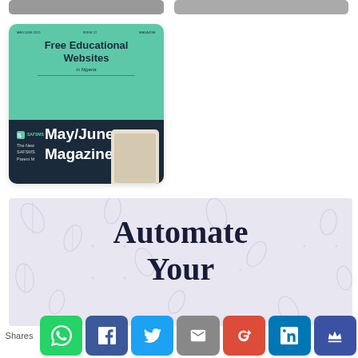[Figure (screenshot): Top-left image card (partially visible, cropped at top)]
[Figure (screenshot): Top-right image card (partially visible, cropped at top)]
[Figure (illustration): Magazine thumbnail card for May/June issue: 'Free Educational Websites in Nigeria' with SAFSMS branding and tablet graphic. Overlay text reads 'May/June Magazine']
[Figure (infographic): Light purple banner with leaf pattern background showing the beginning of large bold serif text 'Automate Your']
Shares [WhatsApp] [Facebook] [Twitter] [Email] [Google+] [LinkedIn] [Crown]